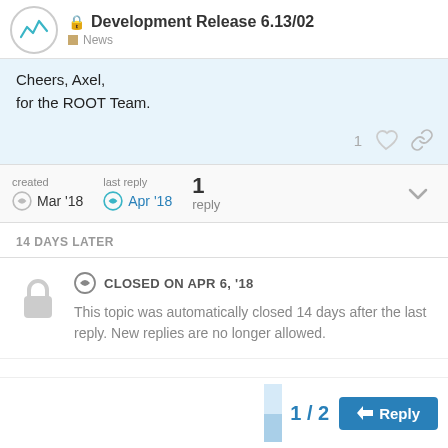Development Release 6.13/02 | News
Cheers, Axel,
for the ROOT Team.
created Mar '18 | last reply Apr '18 | 1 reply
14 DAYS LATER
CLOSED ON APR 6, '18
This topic was automatically closed 14 days after the last reply. New replies are no longer allowed.
1 / 2